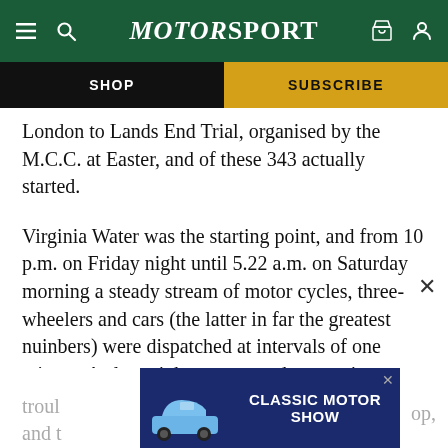MotorSport
SHOP
SUBSCRIBE
London to Lands End Trial, organised by the M.C.C. at Easter, and of these 343 actually started.
Virginia Water was the starting point, and from 10 p.m. on Friday night until 5.22 a.m. on Saturday morning a steady stream of motor cycles, three-wheelers and cars (the latter in far the greatest nuinbers) were dispatched at intervals of one minute. A clear night encouraged competitors with the prospect of a
[Figure (screenshot): Advertisement banner for Classic Motor Show featuring a blue Porsche 911 car image and text 'CLASSIC MOTOR SHOW' on a dark blue background]